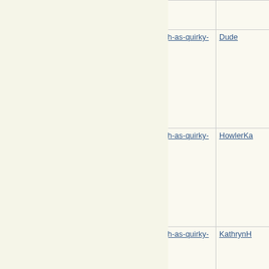| Subject | Author |
| --- | --- |
| Re: Not-really-brag-so-much-as-quirky-anecdote thread | Dude |
| Re: Not-really-brag-so-much-as-quirky-anecdote thread | HowlerKa |
| Re: Not-really-brag-so-much-as-quirky-anecdote thread | KathrynH |
| Re: Not-really-brag-so-much-as-quirky-anecdote thread | Mana |
| Re: Not-really-brag-so-much-as-quirky-anecdote thread | Dude |
| Re: Not-really-brag-so-much-as-quirky-anecdote thread | aeh |